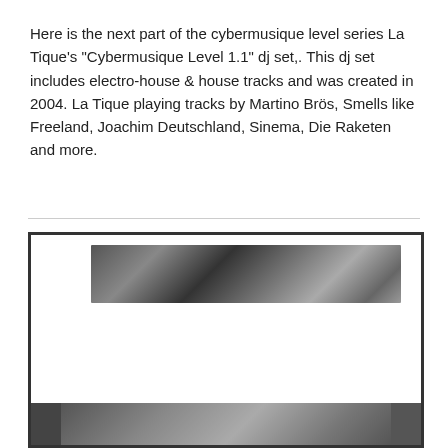Here is the next part of the cybermusique level series La Tique's "Cybermusique Level 1.1" dj set,. This dj set includes electro-house & house tracks and was created in 2004. La Tique playing tracks by Martino Brös, Smells like Freeland, Joachim Deutschland, Sinema, Die Raketen and more.
[Figure (photo): Framed content area showing a black and white photo strip of a person or crowd, partially obscured by a cookie consent overlay. A second photo strip is visible at the bottom.]
This website uses cookies to ensure you get the best experience on our website.
Got it!